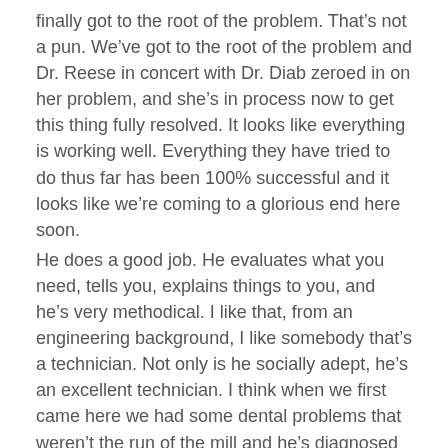finally got to the root of the problem. That's not a pun. We've got to the root of the problem and Dr. Reese in concert with Dr. Diab zeroed in on her problem, and she's in process now to get this thing fully resolved. It looks like everything is working well. Everything they have tried to do thus far has been 100% successful and it looks like we're coming to a glorious end here soon.
He does a good job. He evaluates what you need, tells you, explains things to you, and he's very methodical. I like that, from an engineering background, I like somebody that's a technician. Not only is he socially adept, he's an excellent technician. I think when we first came here we had some dental problems that weren't the run of the mill and he's diagnosed them, worked with others, and got us back on a healthy track here.
Female: When I've talked to my friends about who to